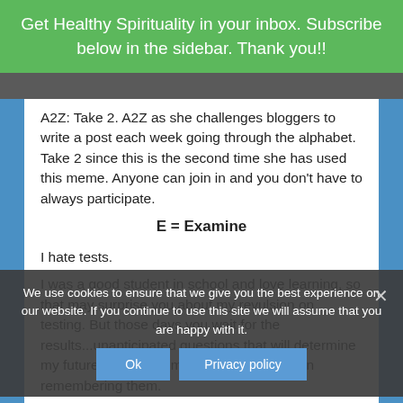Get Healthy Spirituality in your inbox. Subscribe below in the sidebar. Thank you!!
A2Z: Take 2. A2Z as she challenges bloggers to write a post each week going through the alphabet. Take 2 since this is the second time she has used this meme. Anyone can join in and you don't have to always participate.
E = Examine
I hate tests.
I was a good student in school and love learning, so that may surprise you about my revulsion on testing. But those days you wait for the results...unanticipated questions that will determine my future....YIKES – makes me shiver again remembering them.
My most dramatic test experience was the
We use cookies to ensure that we give you the best experience on our website. If you continue to use this site we will assume that you are happy with it.